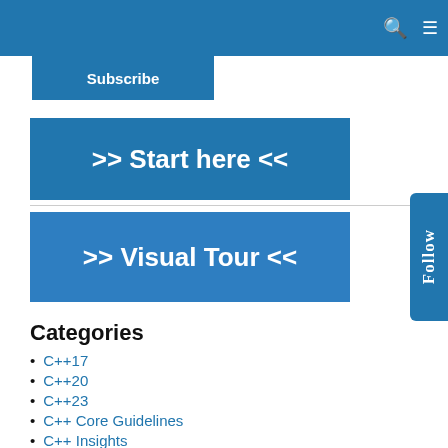Subscribe
[Figure (other): Blue button with text '>> Start here <<']
[Figure (other): Blue button with text '>> Visual Tour <<']
[Figure (other): Blue vertical tab with text 'Follow']
Categories
C++17
C++20
C++23
C++ Core Guidelines
C++ Insights
Embedded
Functional
Multithreading